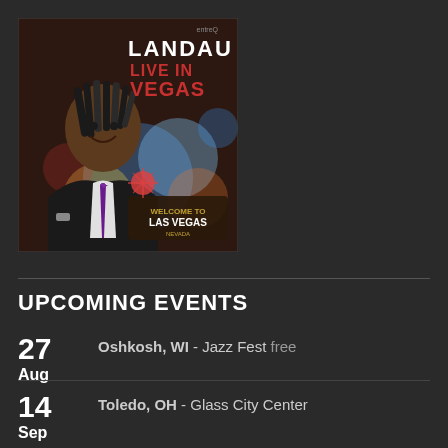[Figure (illustration): Album cover for 'Landau Live in Vegas' showing a man in a dark suit with dreadlocks against a Las Vegas background with colorful bokeh lights and the Las Vegas sign]
UPCOMING EVENTS
27 Aug - Oshkosh, WI - Jazz Fest free
14 Sep - Toledo, OH - Glass City Center